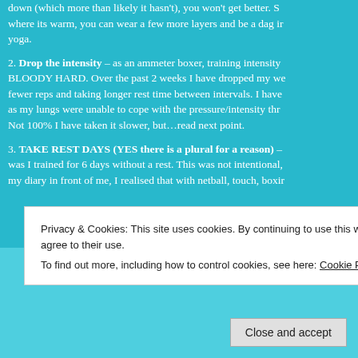...talking to other gym rats can spread the flu and more importantly: if your immune system hasn't calmed down (which more than likely it hasn't), you won't get better. Similarly, if you train in a warm area where its warm, you can wear a few more layers and be a dag in a hoodie, or maybe try some yoga.
2. Drop the intensity – as an ammeter boxer, training intensity is BLOODY HARD. Over the past 2 weeks I have dropped my weights, doing fewer reps and taking longer rest time between intervals. I have found this is as my lungs were unable to cope with the pressure/intensity thrown at them. Not 100% I have taken it slower, but…read next point.
3. TAKE REST DAYS (YES there is a plural for a reason) – was I trained for 6 days without a rest. This was not intentional, my diary in front of me, I realised that with netball, touch, boxing...
Privacy & Cookies: This site uses cookies. By continuing to use this website, you agree to their use.
To find out more, including how to control cookies, see here: Cookie Policy
Close and accept